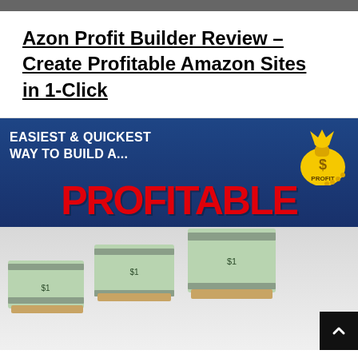Azon Profit Builder Review – Create Profitable Amazon Sites in 1-Click
[Figure (infographic): Promotional banner image with dark blue background showing text 'EASIEST & QUICKEST WAY TO BUILD A...' in white bold text, a yellow money bag with dollar sign and 'PROFIT' text on the right side. Large red text 'PROFITABLE' across the middle. Bottom half shows stacks of US dollar bills on a light background. A black scroll-to-top button with white chevron is in the bottom right corner.]